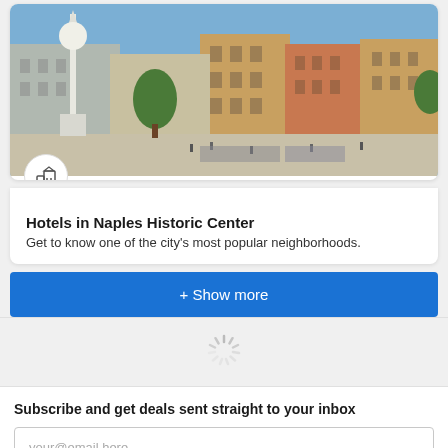[Figure (photo): Photo of Naples Historic Center piazza with a white monument/statue on the left, historic yellow and orange buildings in the background, palm trees, people walking in the square on a sunny day.]
Hotels in Naples Historic Center
Get to know one of the city's most popular neighborhoods.
+ Show more
[Figure (other): Loading spinner icon]
Subscribe and get deals sent straight to your inbox
your@email.here